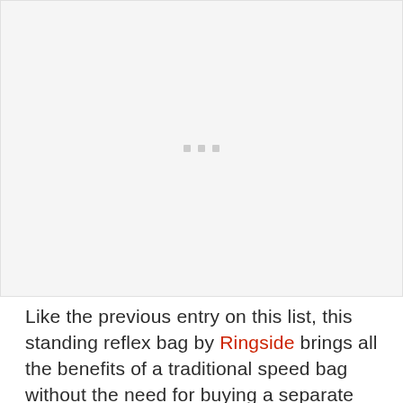[Figure (photo): Image placeholder with three small gray squares/dots centered in a light gray rectangle area]
Like the previous entry on this list, this standing reflex bag by Ringside brings all the benefits of a traditional speed bag without the need for buying a separate mount. The